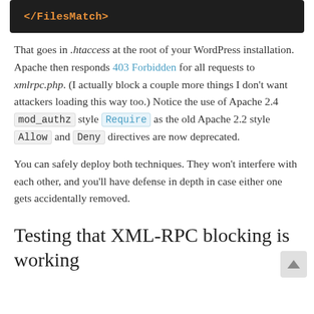[Figure (screenshot): Dark code block showing '</FilesMatch>' in orange monospace font on dark background]
That goes in .htaccess at the root of your WordPress installation. Apache then responds 403 Forbidden for all requests to xmlrpc.php. (I actually block a couple more things I don't want attackers loading this way too.) Notice the use of Apache 2.4 mod_authz style Require as the old Apache 2.2 style Allow and Deny directives are now deprecated.
You can safely deploy both techniques. They won't interfere with each other, and you'll have defense in depth in case either one gets accidentally removed.
Testing that XML-RPC blocking is working